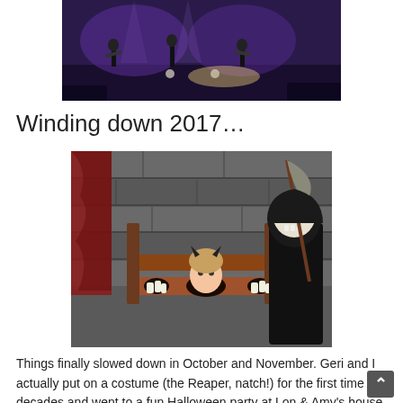[Figure (photo): Concert photo showing musicians on a purple-lit stage viewed from above]
Winding down 2017…
[Figure (photo): Halloween party photo showing person locked in stocks prop with Grim Reaper character, stone wall background]
Things finally slowed down in October and November. Geri and I actually put on a costume (the Reaper, natch!) for the first time in decades and went to a fun Halloween party at Lon & Amy's house.